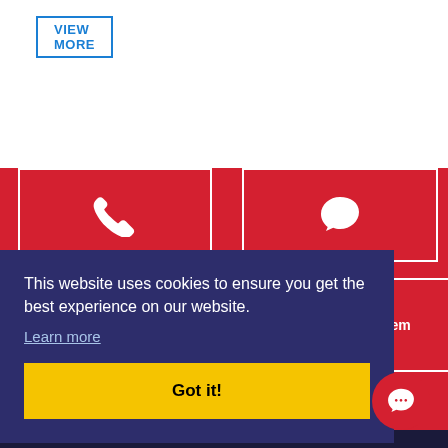VIEW MORE
[Figure (screenshot): Red background section with two white-bordered boxes containing white icons: a phone handset icon on the left and a speech/chat bubble icon on the right]
This website uses cookies to ensure you get the best experience on our website.
Learn more
Got it!
[Figure (other): Partially visible text 'blem' in white on red background]
[Figure (other): Red circle chat button with white speech bubble icon]